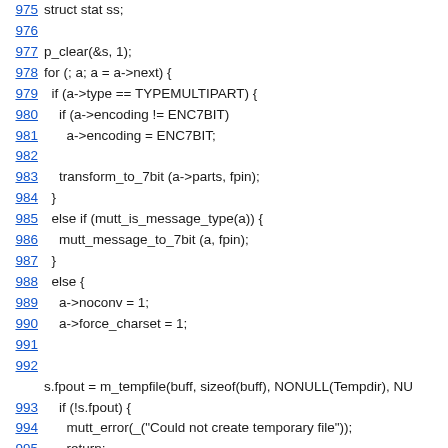Source code listing lines 975-999 showing C code for MIME type handling and 7bit encoding transformation
975: struct stat ss;
976: (empty)
977: p_clear(&s, 1);
978: for (; a; a = a->next) {
979:   if (a->type == TYPEMULTIPART) {
980:     if (a->encoding != ENC7BIT)
981:       a->encoding = ENC7BIT;
982: (empty)
983:     transform_to_7bit (a->parts, fpin);
984:   }
985:   else if (mutt_is_message_type(a)) {
986:     mutt_message_to_7bit (a, fpin);
987:   }
988:   else {
989:     a->noconv = 1;
990:     a->force_charset = 1;
991: (empty)
992: (empty)
992 continuation: s.fpout = m_tempfile(buff, sizeof(buff), NONULL(Tempdir), NU
993:     if (!s.fpout) {
994:       mutt_error(_("Could not create temporary file"));
995:       return;
996:     }
997:     s.fpin = fpin;
998:     mutt_decode_attachment (a, &s);
999:     m_fclose(&s.fpout);